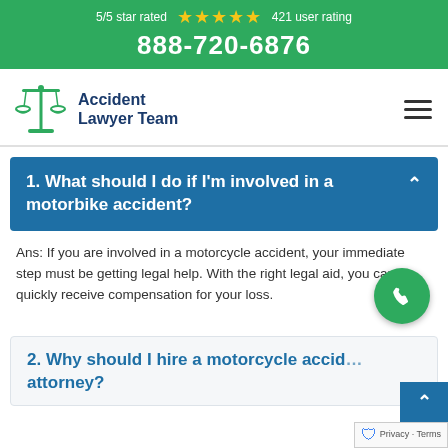5/5 star rated ★★★★★ 421 user rating
888-720-6876
[Figure (logo): Accident Lawyer Team logo with scales of justice icon and text]
1. What should I do if I'm involved in a motorbike accident?
Ans: If you are involved in a motorcycle accident, your immediate step must be getting legal help. With the right legal aid, you can quickly receive compensation for your loss.
[Figure (illustration): Green circular phone/call button]
2. Why should I hire a motorcycle accident attorney?